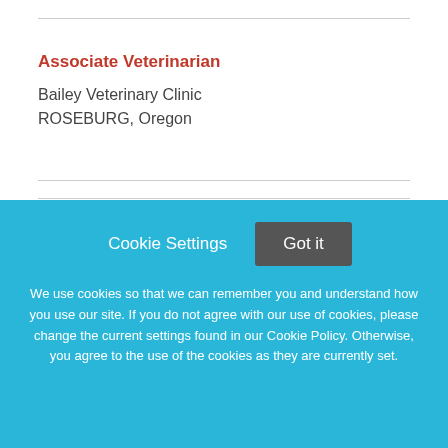Associate Veterinarian
Bailey Veterinary Clinic
ROSEBURG, Oregon
[Figure (logo): North Central Veterinary Emergency Center Logo]
Cookie Settings   Got it
We use cookies so that we can remember you and understand how you use our site. If you do not agree with our use of cookies, please change the current settings found in our Cookie Policy. Otherwise, you agree to the use of the cookies as they are currently set.